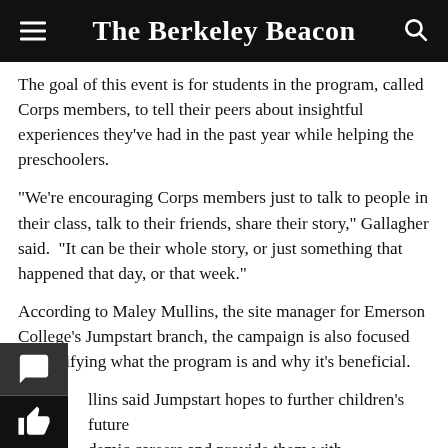The Berkeley Beacon
The goal of this event is for students in the program, called Corps members, to tell their peers about insightful experiences they’ve had in the past year while helping the preschoolers.
“We’re encouraging Corps members just to talk to people in their class, talk to their friends, share their story,” Gallagher said. “It can be their whole story, or just something that happened that day, or that week.”
According to Maley Mullins, the site manager for Emerson College’s Jumpstart branch, the campaign is also focused on clarifying what the program is and why it’s beneficial.
Mullins said Jumpstart hopes to further children’s future academic careers and provide them with opportunities they might not otherwise have.